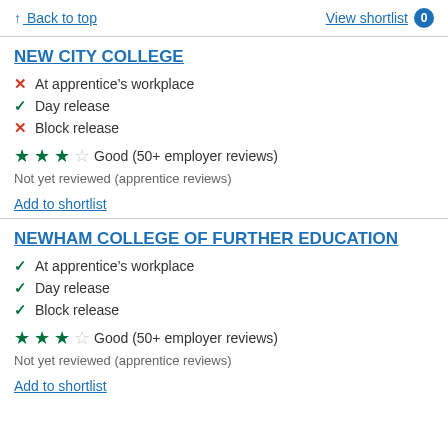↑ Back to top   View shortlist 0
NEW CITY COLLEGE
At apprentice's workplace (not available)
Day release (available)
Block release (not available)
★★★☆ Good (50+ employer reviews)
Not yet reviewed (apprentice reviews)
Add to shortlist
NEWHAM COLLEGE OF FURTHER EDUCATION
At apprentice's workplace (available)
Day release (available)
Block release (available)
★★★☆ Good (50+ employer reviews)
Not yet reviewed (apprentice reviews)
Add to shortlist